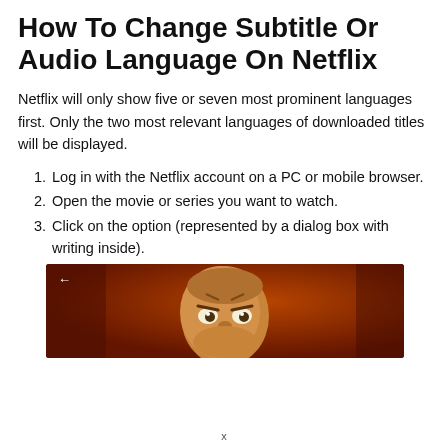How To Change Subtitle Or Audio Language On Netflix
Netflix will only show five or seven most prominent languages first. Only the two most relevant languages of downloaded titles will be displayed.
Log in with the Netflix account on a PC or mobile browser.
Open the movie or series you want to watch.
Click on the option (represented by a dialog box with writing inside).
[Figure (screenshot): A screenshot from a Netflix video showing an animated character with an angry expression on an orange/red background, with a back arrow in the top left.]